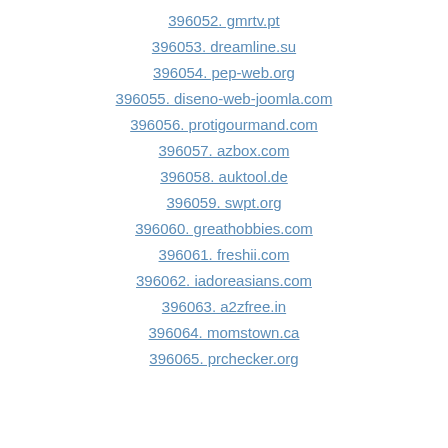396052. gmrtv.pt
396053. dreamline.su
396054. pep-web.org
396055. diseno-web-joomla.com
396056. protigourmand.com
396057. azbox.com
396058. auktool.de
396059. swpt.org
396060. greathobbies.com
396061. freshii.com
396062. iadoreasians.com
396063. a2zfree.in
396064. momstown.ca
396065. prchecker.org